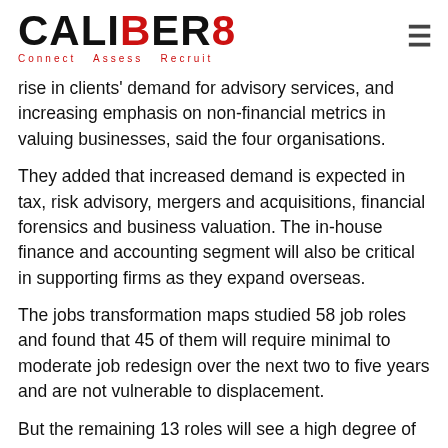CALIBER8 Connect Assess Recruit
rise in clients' demand for advisory services, and increasing emphasis on non-financial metrics in valuing businesses, said the four organisations.
They added that increased demand is expected in tax, risk advisory, mergers and acquisitions, financial forensics and business valuation. The in-house finance and accounting segment will also be critical in supporting firms as they expand overseas.
The jobs transformation maps studied 58 job roles and found that 45 of them will require minimal to moderate job redesign over the next two to five years and are not vulnerable to displacement.
But the remaining 13 roles will see a high degree of